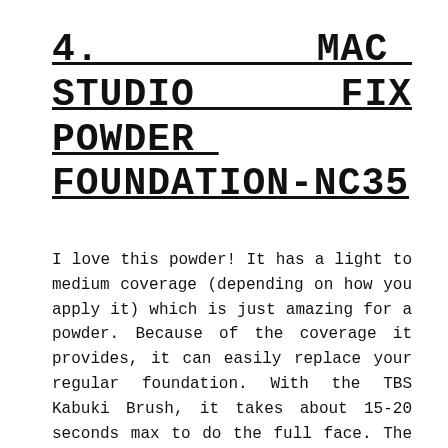4.   MAC   STUDIO   FIX POWDER   FOUNDATION-NC35
I love this powder! It has a light to medium coverage (depending on how you apply it) which is just amazing for a powder. Because of the coverage it provides, it can easily replace your regular foundation. With the TBS Kabuki Brush, it takes about 15-20 seconds max to do the full face. The shade matches my skintone perfectly and being a powder, it controls the oil on my skin nicely. It does tend to look powdery sometimes if I apply a little too much and that is why I have MAC Fix Plus in my